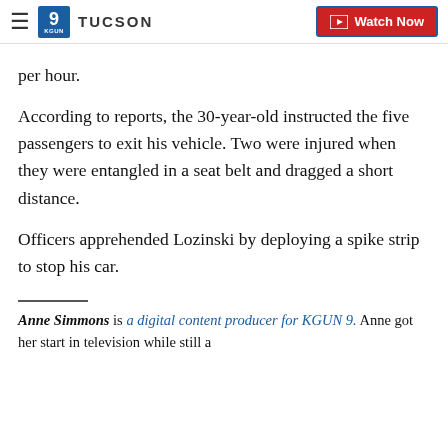9 TUCSON | Watch Now
per hour.
According to reports, the 30-year-old instructed the five passengers to exit his vehicle. Two were injured when they were entangled in a seat belt and dragged a short distance.
Officers apprehended Lozinski by deploying a spike strip to stop his car.
Anne Simmons is a digital content producer for KGUN 9. Anne got her start in television while still a student at the University of Arizona. Before joining...